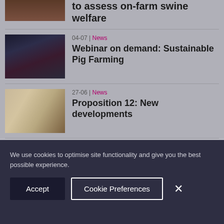[Figure (photo): Partial pig image (top cropped), brown tones]
to assess on-farm swine welfare
[Figure (photo): Webinar studio scene with multiple presenters, dark background with pink/magenta accents]
04-07 | News
Webinar on demand: Sustainable Pig Farming
[Figure (photo): Close-up of pig face, pale pink skin tones]
27-06 | News
Proposition 12: New developments
[Figure (photo): Two people with devices, dark background]
18-05 | Partner
Taking decisions virtually
We use cookies to optimise site functionality and give you the best possible experience.